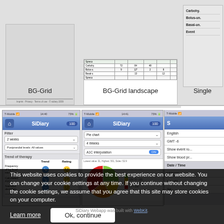[Figure (screenshot): BG-Grid app screenshot showing grid/table view with footer text]
BG-Grid
[Figure (screenshot): BG-Grid landscape app screenshot showing data table with columns and rows including Carbohy, Bolus-u, Basal-u, Event, Spreco entries with numeric values]
BG-Grid landscape
[Figure (screenshot): Single view partial screenshot showing Carbohy., Bolus-un., Basal-un., Event labels]
Single
[Figure (screenshot): SiDiary iPhone app screenshot - Filter screen showing 2 weeks filter, Postprandial levels: All values, Trend of therapy table with Frequency of bg level tracking, Calculated A1C, Standard deviation rows with Trend and Rating columns]
[Figure (pie-chart): SiDiary iPhone app screenshot showing Pie chart with 4 Weeks, A1C interpolation ON, and a pie chart with green/yellow/orange/red segments. Legend shows: 53% <70, 62% 70-130, 19% 130-180, 9% >200. Lowest value 31, Highest 501, Stdev 52.9]
[Figure (screenshot): Partial SiDiary app screenshot showing English, GMT -6, Show event ro..., Show blood pr..., Date/Time, HH:mm, mm:dd, Se... options]
This website uses cookies to provide the best experience on our website. You can change your cookie settings at any time. If you continue without changing the cookie settings, we assume that you agree that this site may store cookies on your computer.
Learn more
Ok, continue
SiDiary Webapp was built with WebKit.